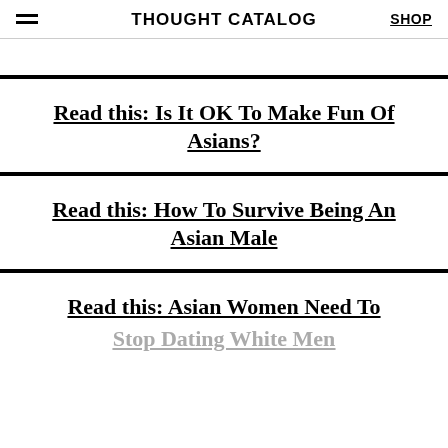THOUGHT CATALOG
Read this: Is It OK To Make Fun Of Asians?
Read this: How To Survive Being An Asian Male
Read this: Asian Women Need To Stop Dating White Men